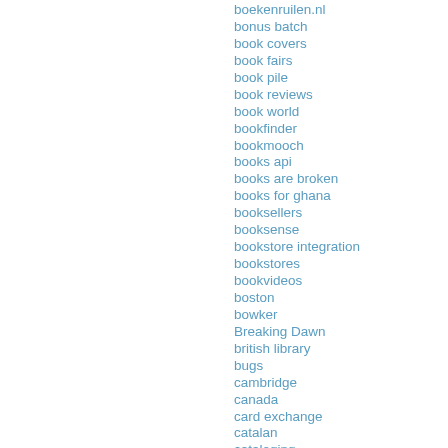boekenruilen.nl
bonus batch
book covers
book fairs
book pile
book reviews
book world
bookfinder
bookmooch
books api
books are broken
books for ghana
booksellers
booksense
bookstore integration
bookstores
bookvideos
boston
bowker
Breaking Dawn
british library
bugs
cambridge
canada
card exchange
catalan
cataloging
chapters
chapters/indigo
Chicago
chris
christmas pudding